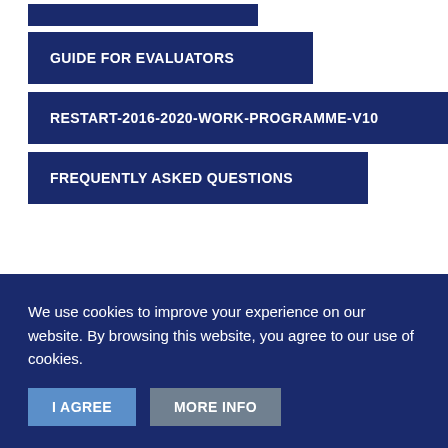GUIDE FOR EVALUATORS
RESTART-2016-2020-WORK-PROGRAMME-V10
FREQUENTLY ASKED QUESTIONS
Archive
We use cookies to improve your experience on our website. By browsing this website, you agree to our use of cookies.
I AGREE
MORE INFO